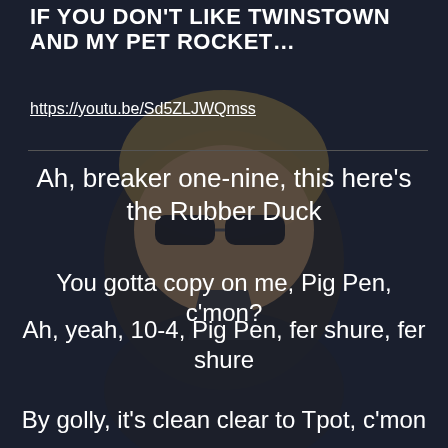IF YOU DON'T LIKE TWINSTOWN AND MY PET ROCKET…
https://youtu.be/Sd5ZLJWQmss
Ah, breaker one-nine, this here's the Rubber Duck
You gotta copy on me, Pig Pen, c'mon?
Ah, yeah, 10-4, Pig Pen, fer shure, fer shure
By golly, it's clean clear to Tpot, c'mon